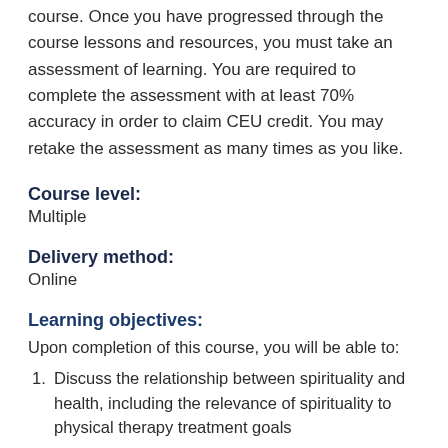course. Once you have progressed through the course lessons and resources, you must take an assessment of learning. You are required to complete the assessment with at least 70% accuracy in order to claim CEU credit. You may retake the assessment as many times as you like.
Course level:
Multiple
Delivery method:
Online
Learning objectives:
Upon completion of this course, you will be able to:
1. Discuss the relationship between spirituality and health, including the relevance of spirituality to physical therapy treatment goals